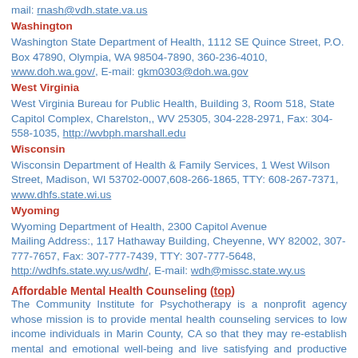mail: rnash@vdh.state.va.us
Washington
Washington State Department of Health, 1112 SE Quince Street, P.O. Box 47890, Olympia, WA 98504-7890, 360-236-4010, www.doh.wa.gov/, E-mail: gkm0303@doh.wa.gov
West Virginia
West Virginia Bureau for Public Health, Building 3, Room 518, State Capitol Complex, Charelston,, WV 25305, 304-228-2971, Fax: 304-558-1035, http://wvbph.marshall.edu
Wisconsin
Wisconsin Department of Health & Family Services, 1 West Wilson Street, Madison, WI 53702-0007,608-266-1865, TTY: 608-267-7371, www.dhfs.state.wi.us
Wyoming
Wyoming Department of Health, 2300 Capitol Avenue Mailing Address:, 117 Hathaway Building, Cheyenne, WY 82002, 307-777-7657, Fax: 307-777-7439, TTY: 307-777-5648, http://wdhfs.state.wy.us/wdh/, E-mail: wdh@missc.state.wy.us
Affordable Mental Health Counseling (top)
The Community Institute for Psychotherapy is a nonprofit agency whose mission is to provide mental health counseling services to low income individuals in Marin County, CA so that they may re-establish mental and emotional well-being and live satisfying and productive lives. CIP offers outpatient psychotherapy on a sliding scale fee basis to adults, children, families, and couples who would otherwise be unable to afford such services. To find out if similar programs like this exist in your area, contact your local Social Services Agency or your local health department (found in the blue pages of your phone book). Contact: Community Institute for Psychotherapy, 1330 Lincoln